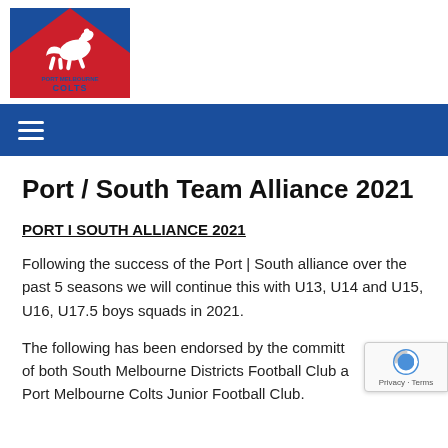[Figure (logo): Port Melbourne Colts Junior Football Club logo — red background with blue triangle, white rearing horse, text 'PORT MELBOURNE COLTS' in blue]
≡ (navigation menu icon)
Port / South Team Alliance 2021
PORT I SOUTH ALLIANCE 2021
Following the success of the Port | South alliance over the past 5 seasons we will continue this with U13, U14 and U15, U16, U17.5 boys squads in 2021.
The following has been endorsed by the committees of both South Melbourne Districts Football Club and Port Melbourne Colts Junior Football Club.